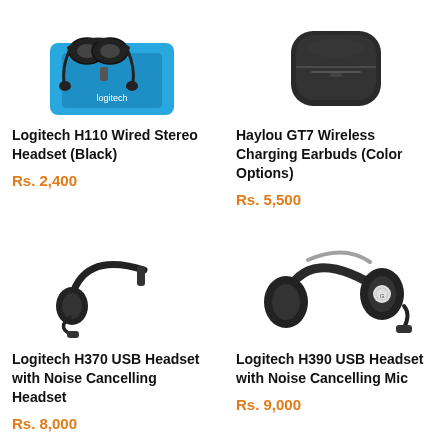[Figure (photo): Logitech H110 Wired Stereo Headset with blue charging dock]
Logitech H110 Wired Stereo Headset (Black)
Rs. 2,400
[Figure (photo): Haylou GT7 Wireless Charging Earbuds in charging case]
Haylou GT7 Wireless Charging Earbuds (Color Options)
Rs. 5,500
[Figure (photo): Logitech H370 USB Headset with noise cancelling headset]
Logitech H370 USB Headset with Noise Cancelling Headset
Rs. 8,000
[Figure (photo): Logitech H390 USB Headset with noise cancelling mic]
Logitech H390 USB Headset with Noise Cancelling Mic
Rs. 9,000